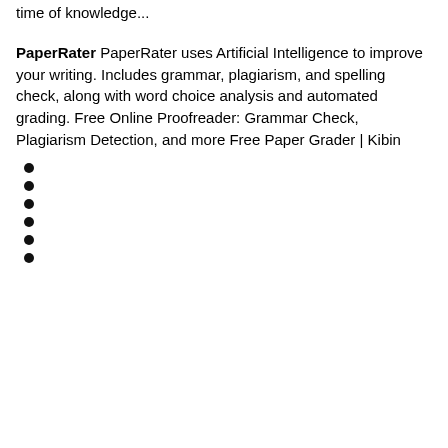time of knowledge...
PaperRater PaperRater uses Artificial Intelligence to improve your writing. Includes grammar, plagiarism, and spelling check, along with word choice analysis and automated grading. Free Online Proofreader: Grammar Check, Plagiarism Detection, and more Free Paper Grader | Kibin